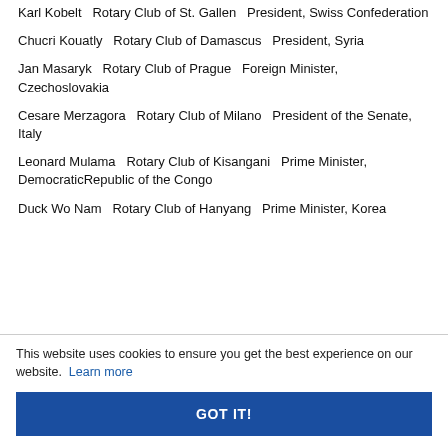Karl Kobelt   Rotary Club of St. Gallen   President, Swiss Confederation
Chucri Kouatly   Rotary Club of Damascus   President, Syria
Jan Masaryk   Rotary Club of Prague   Foreign Minister, Czechoslovakia
Cesare Merzagora   Rotary Club of Milano   President of the Senate, Italy
Leonard Mulama   Rotary Club of Kisangani   Prime Minister, DemocraticRepublic of the Congo
Duck Wo Nam   Rotary Club of Hanyang   Prime Minister, Korea
This website uses cookies to ensure you get the best experience on our website. Learn more
GOT IT!